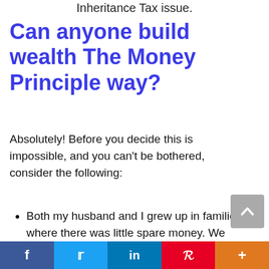Inheritance Tax issue.
Can anyone build wealth The Money Principle way?
Absolutely! Before you decide this is impossible, and you can't be bothered, consider the following:
Both my husband and I grew up in families where there was little spare money. We were very determined to work hard, get good
f  t  in  P  +